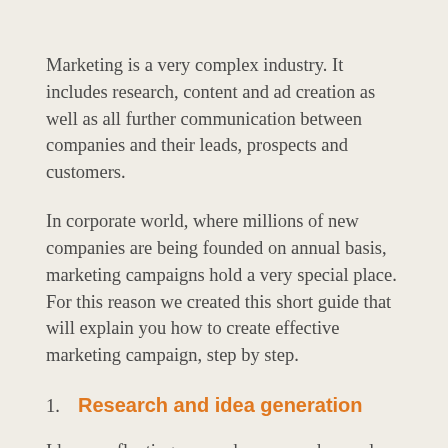Marketing is a very complex industry. It includes research, content and ad creation as well as all further communication between companies and their leads, prospects and customers.
In corporate world, where millions of new companies are being founded on annual basis, marketing campaigns hold a very special place. For this reason we created this short guide that will explain you how to create effective marketing campaign, step by step.
1. Research and idea generation
Ideas are floating everywhere around us and great marketers are very skillful in noticing them and turning them into a powerful marketing campaigns. Beginners need to start with an elaborate research that will analyze